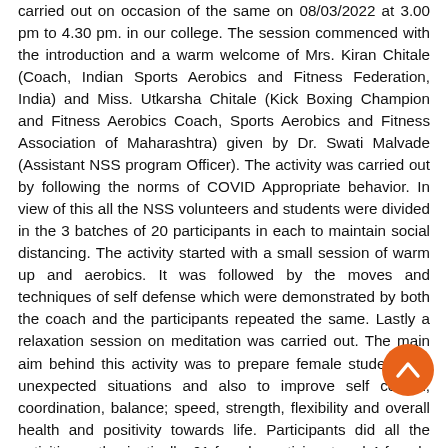carried out on occasion of the same on 08/03/2022 at 3.00 pm to 4.30 pm. in our college. The session commenced with the introduction and a warm welcome of Mrs. Kiran Chitale (Coach, Indian Sports Aerobics and Fitness Federation, India) and Miss. Utkarsha Chitale (Kick Boxing Champion and Fitness Aerobics Coach, Sports Aerobics and Fitness Association of Maharashtra) given by Dr. Swati Malvade (Assistant NSS program Officer). The activity was carried out by following the norms of COVID Appropriate behavior. In view of this all the NSS volunteers and students were divided in the 3 batches of 20 participants in each to maintain social distancing. The activity started with a small session of warm up and aerobics. It was followed by the moves and techniques of self defense which were demonstrated by both the coach and the participants repeated the same. Lastly a relaxation session on meditation was carried out. The main aim behind this activity was to prepare female students for unexpected situations and also to improve self control, coordination, balance; speed, strength, flexibility and overall health and positivity towards life. Participants did all the activities enthusiastically. 61 female participant and 4 female teaching faculties attended the activity. The session was concluded with the vote of